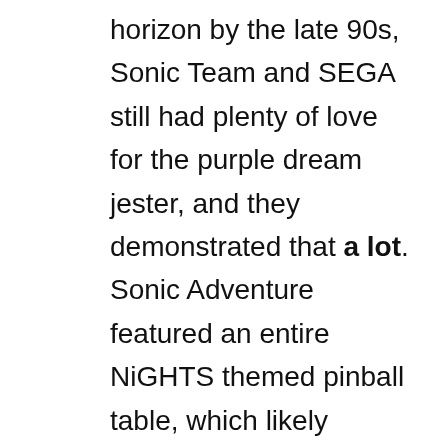horizon by the late 90s, Sonic Team and SEGA still had plenty of love for the purple dream jester, and they demonstrated that a lot. Sonic Adventure featured an entire NiGHTS themed pinball table, which likely served as many Sonic fan's first exposure to the character. When Dreamcast party game Sonic Shuffle's multiplayer was played on December 24, NiGHTS replaced Lumina. Sonic Adventure 2 featured NiGHTS on numerous level assets and featured a chao based on them. The cameos continued even after the Dreamcast.
Sonic Pinball Party gave NiGHTS a second pinball table, and the character was playable in both the Sonic Riders games and SEGA Superstars, a mini game collection for the